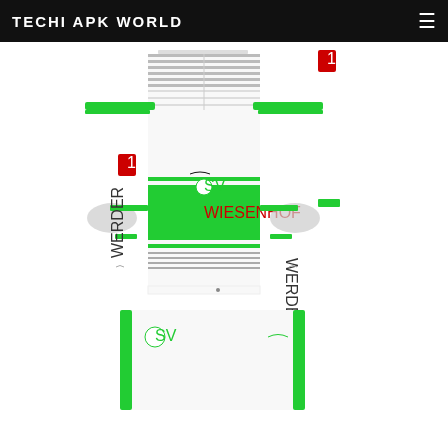TECHI APK WORLD
[Figure (illustration): Werder Bremen football kit template showing a white jersey with green accents and WIESENHOF sponsor, along with white shorts with green stripes. The kit is laid flat in a top-down view. Nike swoosh visible. Bundesliga logo patch shown.]